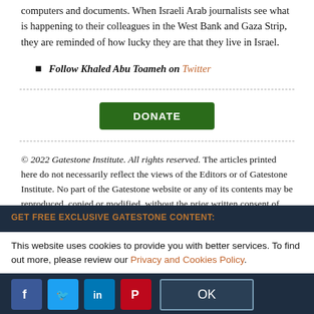computers and documents. When Israeli Arab journalists see what is happening to their colleagues in the West Bank and Gaza Strip, they are reminded of how lucky they are that they live in Israel.
Follow Khaled Abu Toameh on Twitter
[Figure (other): DONATE button (green)]
© 2022 Gatestone Institute. All rights reserved. The articles printed here do not necessarily reflect the views of the Editors or of Gatestone Institute. No part of the Gatestone website or any of its contents may be reproduced, copied or modified, without the prior written consent of Gatestone Institute.
GET FREE EXCLUSIVE GATESTONE CONTENT:
This website uses cookies to provide you with better services. To find out more, please review our Privacy and Cookies Policy.
[Figure (other): Social media icons: Facebook, Twitter, LinkedIn, Pinterest. OK button.]